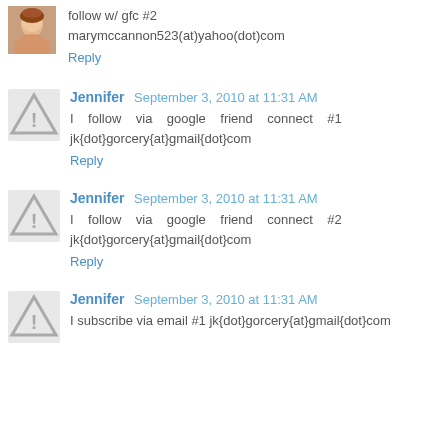follow w/ gfc #2
marymccannon523(at)yahoo(dot)com
Reply
Jennifer  September 3, 2010 at 11:31 AM
I follow via google friend connect #1 jk{dot}gorcery{at}gmail{dot}com
Reply
Jennifer  September 3, 2010 at 11:31 AM
I follow via google friend connect #2 jk{dot}gorcery{at}gmail{dot}com
Reply
Jennifer  September 3, 2010 at 11:31 AM
I subscribe via email #1 jk{dot}gorcery{at}gmail{dot}com